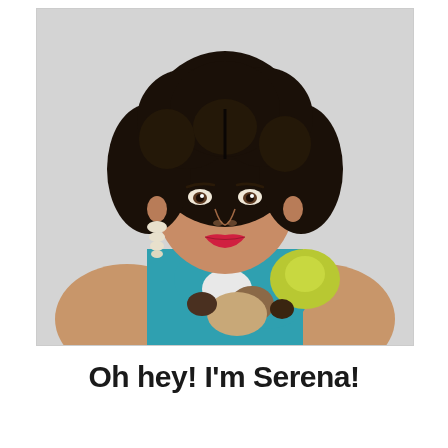[Figure (photo): Portrait photo of a young woman with curly dark hair, red lipstick, white drop earrings, wearing a sleeveless floral dress in teal, white, yellow-green, tan, and brown colors. Background is light gray.]
Oh hey! I'm Serena!